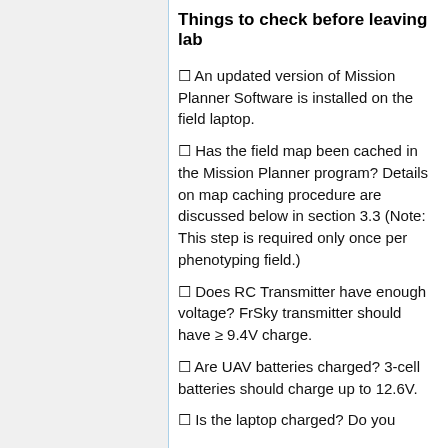Things to check before leaving lab
An updated version of Mission Planner Software is installed on the field laptop.
Has the field map been cached in the Mission Planner program? Details on map caching procedure are discussed below in section 3.3 (Note: This step is required only once per phenotyping field.)
Does RC Transmitter have enough voltage? FrSky transmitter should have ≥ 9.4V charge.
Are UAV batteries charged? 3-cell batteries should charge up to 12.6V.
Is the laptop charged? Do you